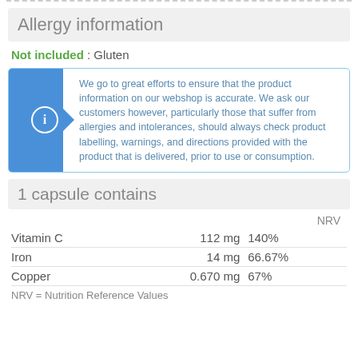Allergy information
Not included : Gluten
We go to great efforts to ensure that the product information on our webshop is accurate. We ask our customers however, particularly those that suffer from allergies and intolerances, should always check product labelling, warnings, and directions provided with the product that is delivered, prior to use or consumption.
1 capsule contains
|  | NRV |
| --- | --- |
| Vitamin C 112 mg | 140% |
| Iron | 14 mg | 66.67% |
| Copper | 0.670 mg | 67% |
NRV = Nutrition Reference Values